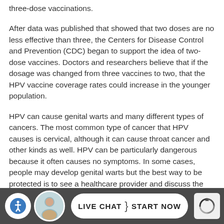three-dose vaccinations.
After data was published that showed that two doses are no less effective than three, the Centers for Disease Control and Prevention (CDC) began to support the idea of two-dose vaccines. Doctors and researchers believe that if the dosage was changed from three vaccines to two, that the HPV vaccine coverage rates could increase in the younger population.
HPV can cause genital warts and many different types of cancers. The most common type of cancer that HPV causes is cervical, although it can cause throat cancer and other kinds as well. HPV can be particularly dangerous because it often causes no symptoms. In some cases, people may develop genital warts but the best way to be protected is to see a healthcare provider and discuss the vacci...